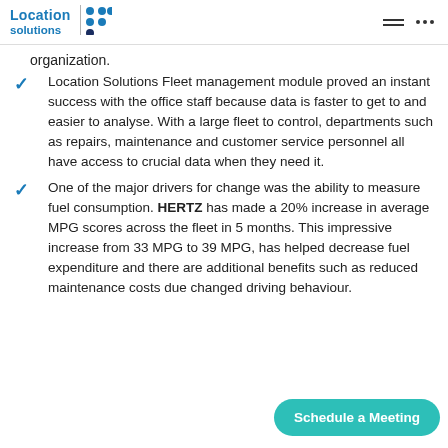Location Solutions
organization.
Location Solutions Fleet management module proved an instant success with the office staff because data is faster to get to and easier to analyse. With a large fleet to control, departments such as repairs, maintenance and customer service personnel all have access to crucial data when they need it.
One of the major drivers for change was the ability to measure fuel consumption. HERTZ has made a 20% increase in average MPG scores across the fleet in 5 months. This impressive increase from 33 MPG to 39 MPG, has helped decrease fuel expenditure and there are additional benefits such as reduced maintenance costs due changed driving behaviour.